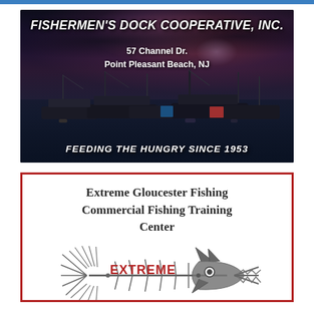[Figure (photo): Fishermen's Dock Cooperative, Inc. advertisement. Dark dramatic photo of fishing boats docked at a pier at dusk/night with stormy sky with red and purple hues. Text overlay: 'FISHERMEN'S DOCK COOPERATIVE, INC.' at top, '57 Channel Dr. Point Pleasant Beach, NJ' in middle, 'FEEDING THE HUNGRY SINCE 1953' at bottom.]
[Figure (logo): Extreme Gloucester Fishing Commercial Fishing Training Center advertisement. White background with red border. Title text 'Extreme Gloucester Fishing Commercial Fishing Training Center'. Below is a stylized fish skeleton logo with the word 'EXTREME' written across it in red letters, with decorative wing-like fins on either side.]